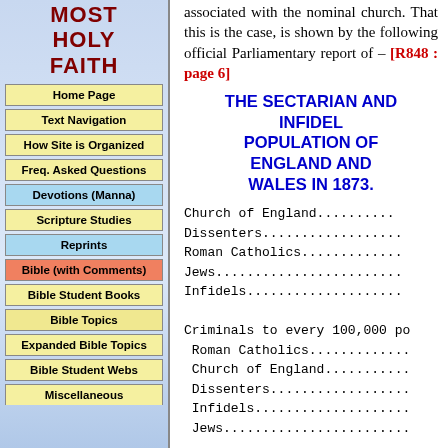MOST HOLY FAITH
Home Page
Text Navigation
How Site is Organized
Freq. Asked Questions
Devotions (Manna)
Scripture Studies
Reprints
Bible (with Comments)
Bible Student Books
Bible Topics
Expanded Bible Topics
Bible Student Webs
Miscellaneous
associated with the nominal church. That this is the case, is shown by the following official Parliamentary report of – [R848 : page 6]
THE SECTARIAN AND INFIDEL POPULATION OF ENGLAND AND WALES IN 1873.
Church of England..........
Dissenters..................
Roman Catholics.............
Jews........................
Infidels....................

Criminals to every 100,000 po
Roman Catholics.............
Church of England...........
Dissenters..................
Infidels....................
Jews........................